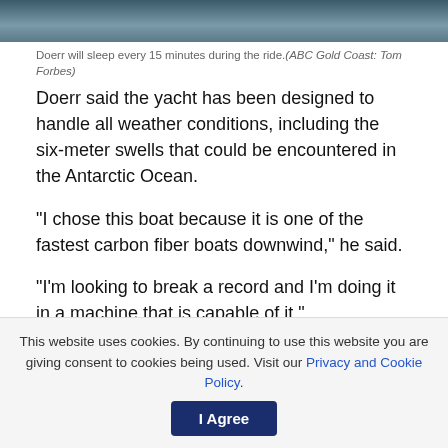[Figure (photo): Partial photo of a person, cropped at top of page]
Doerr will sleep every 15 minutes during the ride.(ABC Gold Coast: Tom Forbes)
Doerr said the yacht has been designed to handle all weather conditions, including the six-meter swells that could be encountered in the Antarctic Ocean.
“I chose this boat because it is one of the fastest carbon fiber boats downwind,” he said.
“I’m looking to break a record and I’m doing it in a machine that is capable of it.”
Find more local news
This website uses cookies. By continuing to use this website you are giving consent to cookies being used. Visit our Privacy and Cookie Policy.